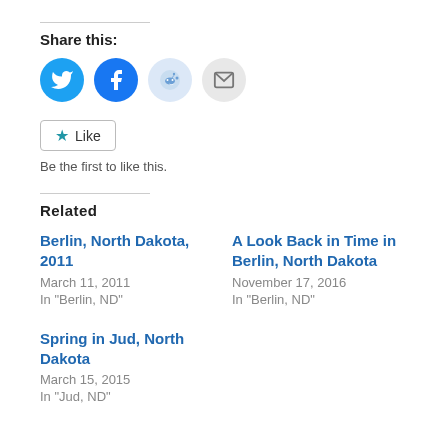Share this:
[Figure (infographic): Four social sharing icon circles: Twitter (blue), Facebook (dark blue), Reddit (light blue), Email (gray)]
[Figure (infographic): Like button with star icon and text 'Like']
Be the first to like this.
Related
Berlin, North Dakota, 2011
March 11, 2011
In "Berlin, ND"
A Look Back in Time in Berlin, North Dakota
November 17, 2016
In "Berlin, ND"
Spring in Jud, North Dakota
March 15, 2015
In "Jud, ND"